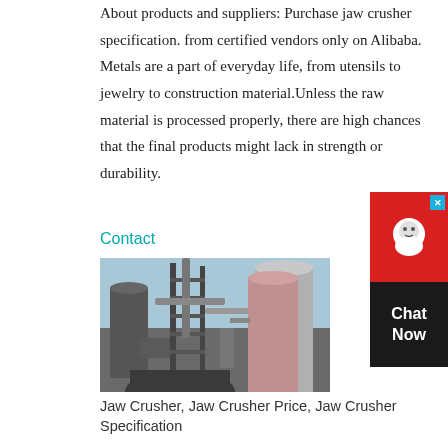About products and suppliers: Purchase jaw crusher specification. from certified vendors only on Alibaba. Metals are a part of everyday life, from utensils to jewelry to construction material.Unless the raw material is processed properly, there are high chances that the final products might lack in strength or durability.
Contact
[Figure (photo): Industrial facility showing large machinery, silos, pipes and metal structures against a sky background — likely a mining or crushing plant.]
Jaw Crusher, Jaw Crusher Price, Jaw Crusher Specification
The angle of Jaw Crusher between toggle plate and moving jaw decreases when moving jaw moves down, the moving